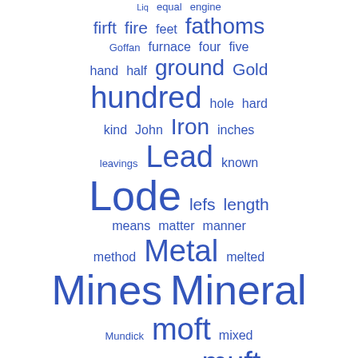[Figure (other): Word cloud with mining/geological terms in varying sizes rendered in blue, on a white background. Words include: Liq, equal, engine, firft, fire, feet, fathoms, Goffan, furnace, four, five, hand, half, ground, Gold, hundred, hole, hard, kind, John, Iron, inches, leavings, Lead, known, Lode, lefs, length, means, matter, manner, method, Metal, melted, Mines, Mineral, Mundick, moft, mixed, neceffary, nature, muft, perfon, operation, obferved, produce, pounds, piece, quantity, pump, proper, fame, rocks, Right, rich, fet, feparate, fea, fay]